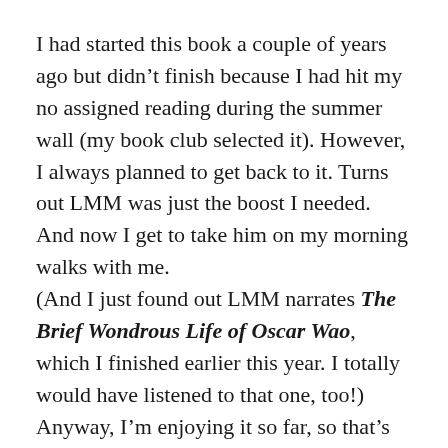I had started this book a couple of years ago but didn't finish because I had hit my no assigned reading during the summer wall (my book club selected it). However, I always planned to get back to it. Turns out LMM was just the boost I needed. And now I get to take him on my morning walks with me.
(And I just found out LMM narrates The Brief Wondrous Life of Oscar Wao, which I finished earlier this year. I totally would have listened to that one, too!)
Anyway, I'm enjoying it so far, so that's nice.